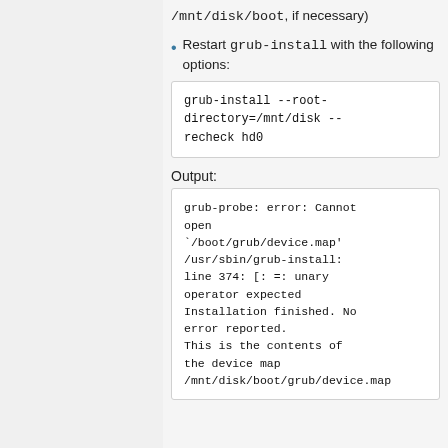/mnt/disk/boot, if necessary)
Restart grub-install with the following options:
Output: